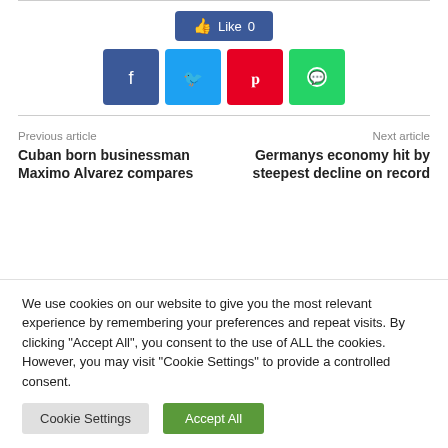[Figure (other): Facebook Like button showing count 0]
[Figure (other): Four social share buttons: Facebook (dark blue), Twitter (light blue), Pinterest (red), WhatsApp (green)]
Previous article
Next article
Cuban born businessman Maximo Alvarez compares
Germanys economy hit by steepest decline on record
We use cookies on our website to give you the most relevant experience by remembering your preferences and repeat visits. By clicking "Accept All", you consent to the use of ALL the cookies. However, you may visit "Cookie Settings" to provide a controlled consent.
Cookie Settings
Accept All